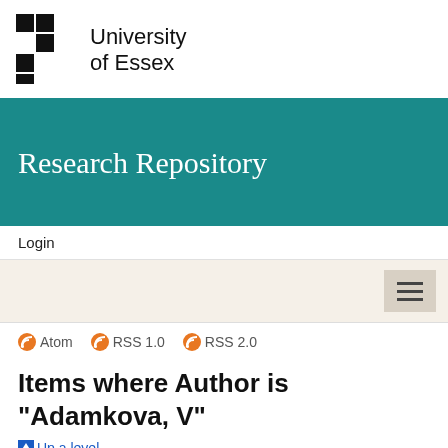[Figure (logo): University of Essex logo with checkered pattern and university name]
Research Repository
Login
[Figure (other): Navigation bar with hamburger menu button]
Atom  RSS 1.0  RSS 2.0
Items where Author is "Adamkova, V"
Up a level
Export as  ASCII Citation
Atom  RSS 1.0
Export
RSS 2.0